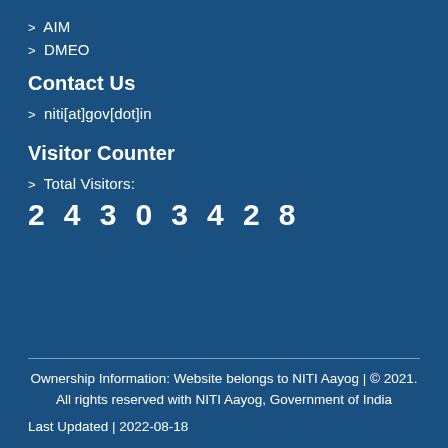> AIM
> DMEO
Contact Us
> niti[at]gov[dot]in
Visitor Counter
> Total Visitors:
2 4 3 0 3 4 2 8
Ownership Information: Website belongs to NITI Aayog | © 2021. All rights reserved with NITI Aayog, Government of India
Last Updated | 2022-08-18